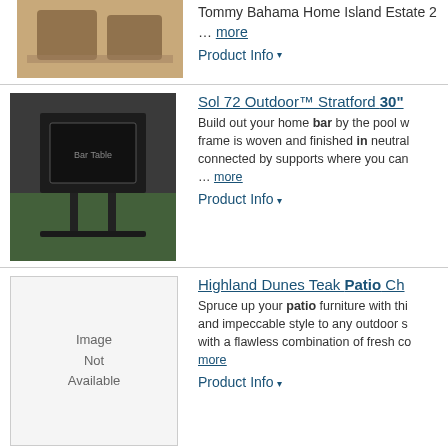[Figure (photo): Partial product image of outdoor dining set (Tommy Bahama Home Island Estate) cropped at top]
Tommy Bahama Home Island Estate 2 ... more
Product Info ▾
[Figure (photo): Photo of Sol 72 Outdoor Stratford 30 inch bar table in dark woven finish outdoors by pool]
Sol 72 Outdoor™ Stratford 30" ... Build out your home bar by the pool w... frame is woven and finished in neutral... connected by supports where you can... ... more
Product Info ▾
[Figure (photo): Image Not Available placeholder for Highland Dunes Teak Patio Chair]
Highland Dunes Teak Patio Ch... Spruce up your patio furniture with thi... and impeccable style to any outdoor s... with a flawless combination of fresh co... more
Product Info ▾
[Figure (photo): Photo of Breakwater Bay Outdoor Club chair with dark gray upholstery and wood/wicker frame]
Breakwater Bay Outdoor Club ... Spruce up your patio furniture with thi... unparalleled comfort and impeccable s... enhance your patio with a perfect com... ... more
Product Info ▾
[Figure (photo): Partial photo of Red Barrel Studio Mozella outdoor chairs set]
Red Barrel Studio® Mozella 27... Functional comfort: Wide-seated chair... high armrests, a sturdy footrest bar, a...